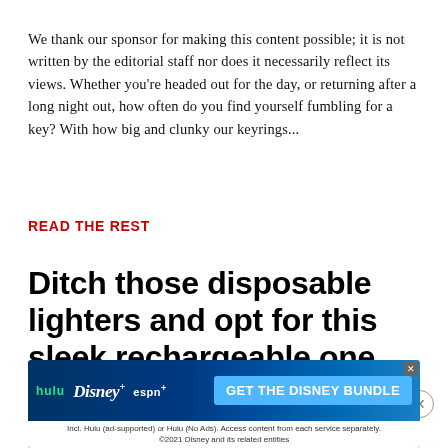We thank our sponsor for making this content possible; it is not written by the editorial staff nor does it necessarily reflect its views. Whether you're headed out for the day, or returning after a long night out, how often do you find yourself fumbling for a key? With how big and clunky our keyrings...
READ THE REST
Ditch those disposable lighters and opt for this sleek rechargeable one you can also smoke out of
Report an ad
[Figure (screenshot): Disney Bundle advertisement banner showing Hulu, Disney+, and ESPN+ logos with 'GET THE DISNEY BUNDLE' call to action button and fine print about Hulu ad-supported or no ads options.]